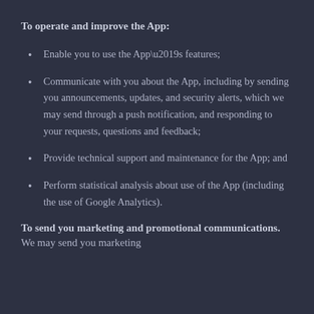To operate and improve the App:
Enable you to use the App’s features;
Communicate with you about the App, including by sending you announcements, updates, and security alerts, which we may send through a push notification, and responding to your requests, questions and feedback;
Provide technical support and maintenance for the App; and
Perform statistical analysis about use of the App (including the use of Google Analytics).
To send you marketing and promotional communications. We may send you marketing